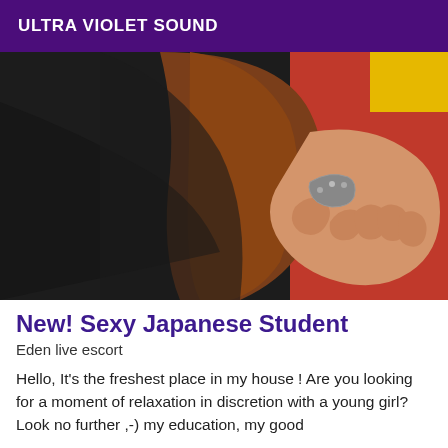ULTRA VIOLET SOUND
[Figure (photo): Close-up photo of a person wearing a black top and red clothing, with brown hair and a bracelet on their wrist, hand resting on a red surface.]
New! Sexy Japanese Student
Eden live escort
Hello, It's the freshest place in my house ! Are you looking for a moment of relaxation in discretion with a young girl? Look no further ,-) my education, my good